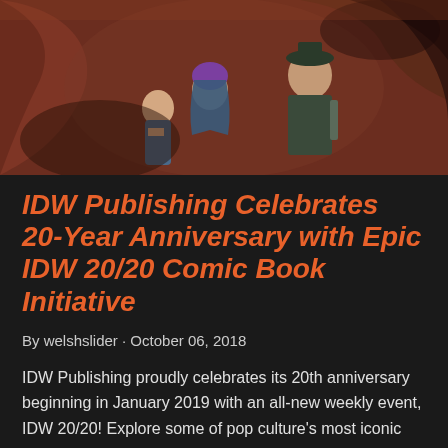[Figure (illustration): Comic book style illustration showing characters including a woman with purple hair and two other figures against a brown/orange background with smoky shapes]
IDW Publishing Celebrates 20-Year Anniversary with Epic IDW 20/20 Comic Book Initiative
By welshslider · October 06, 2018
IDW Publishing proudly celebrates its 20th anniversary beginning in January 2019 with an all-new weekly event, IDW 20/20! Explore some of pop culture's most iconic properties – Ghostbusters, Jem and the Holograms, My ...
SHARE   POST A COMMENT   READ MORE POSTS»